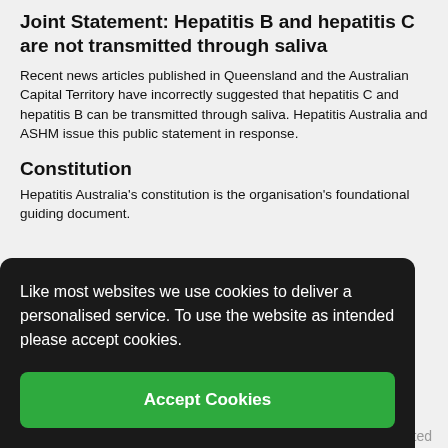Joint Statement: Hepatitis B and hepatitis C are not transmitted through saliva
Recent news articles published in Queensland and the Australian Capital Territory have incorrectly suggested that hepatitis C and hepatitis B can be transmitted through saliva. Hepatitis Australia and ASHM issue this public statement in response.
Constitution
Hepatitis Australia's constitution is the organisation's foundational guiding document.
Like most websites we use cookies to deliver a personalised service. To use the website as intended please accept cookies.
Accept Cookies
Related